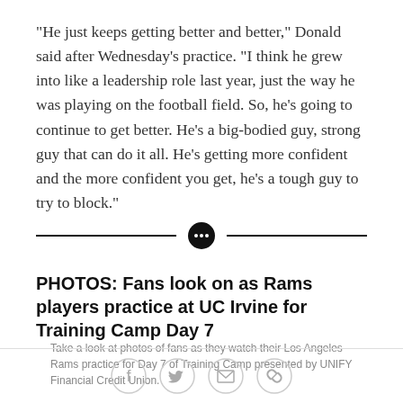"He just keeps getting better and better," Donald said after Wednesday's practice. "I think he grew into like a leadership role last year, just the way he was playing on the football field. So, he's going to continue to get better. He's a big-bodied guy, strong guy that can do it all. He's getting more confident and the more confident you get, he's a tough guy to try to block."
PHOTOS: Fans look on as Rams players practice at UC Irvine for Training Camp Day 7
Take a look at photos of fans as they watch their Los Angeles Rams practice for Day 7 of Training Camp presented by UNIFY Financial Credit Union.